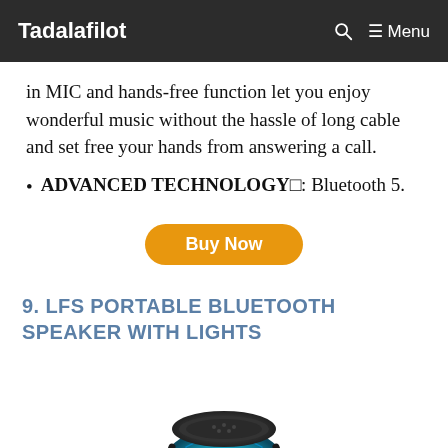Tadalafilot   🔍  ☰ Menu
in MIC and hands-free function let you enjoy wonderful music without the hassle of long cable and set free your hands from answering a call.
ADVANCED TECHNOLOGY□: Bluetooth 5.
Buy Now
9. LFS PORTABLE BLUETOOTH SPEAKER WITH LIGHTS
[Figure (photo): LFS portable Bluetooth speaker with colorful LED lights glowing blue, cylindrical shape with black exterior and lanyard]